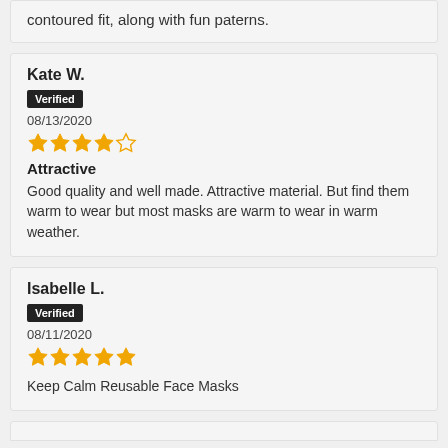contoured fit, along with fun paterns.
Kate W.
Verified
08/13/2020
★★★★☆
Attractive
Good quality and well made. Attractive material. But find them warm to wear but most masks are warm to wear in warm weather.
Isabelle L.
Verified
08/11/2020
★★★★★
Keep Calm Reusable Face Masks